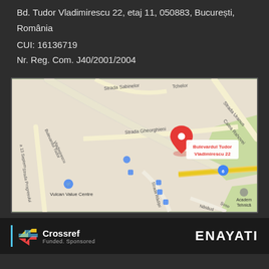Bd. Tudor Vladimirescu 22, etaj 11, 050883, București, România
CUI: 16136719
Nr. Reg. Com. J40/2001/2004
[Figure (map): Google Maps screenshot showing location of Bulevardul Tudor Vladimirescu 22, București, Romania. The map displays surrounding streets including Strada Gheorghieni, Bulevardul Tudor Vladimirescu, Strada Progresului, Strada Rădiței, Calea Rahovei, Strada Sabinelor, with a red location pin marking Bulevardul Tudor Vladimirescu 22. Vulcan Value Centre and Academia Tehnică are visible as landmarks. Route 6 is shown.]
[Figure (logo): Crossref logo with colored arrow icon and text 'Crossref' with subtitle 'Funded. Sponsored']
[Figure (logo): ENAYATI logo in white bold letters]